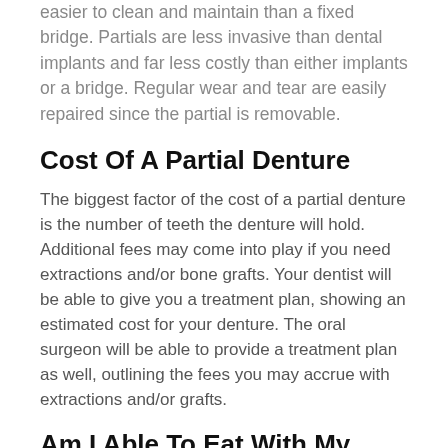easier to clean and maintain than a fixed bridge. Partials are less invasive than dental implants and far less costly than either implants or a bridge. Regular wear and tear are easily repaired since the partial is removable.
Cost Of A Partial Denture
The biggest factor of the cost of a partial denture is the number of teeth the denture will hold. Additional fees may come into play if you need extractions and/or bone grafts. Your dentist will be able to give you a treatment plan, showing an estimated cost for your denture. The oral surgeon will be able to provide a treatment plan as well, outlining the fees you may accrue with extractions and/or grafts.
Am I Able To Eat With My Partial Denture?
Your partial denture was created to fill the void